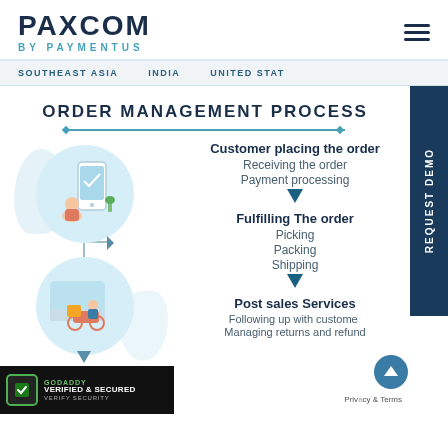PAXCOM BY PAYMENTUS
SOUTHEAST ASIA   INDIA   UNITED STATES
ORDER MANAGEMENT PROCESS
[Figure (infographic): Order Management Process infographic with two illustration circles on the left (customer with phone, delivery on motorcycle) connected by lines with arrows, and on the right a vertical list of process steps: Customer placing the order, Receiving the order, Payment processing, Fulfilling The order, Picking, Packing, Shipping, Post sales Services, Following up with customers, Managing returns and refund]
Customer placing the order
Receiving the order
Payment processing
Fulfilling The order
Picking
Packing
Shipping
Post sales Services
Following up with customers
Managing returns and refund